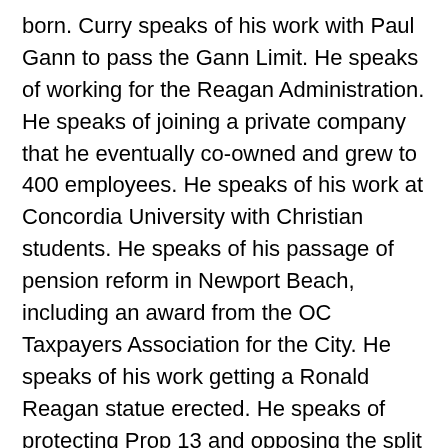born. Curry speaks of his work with Paul Gann to pass the Gann Limit. He speaks of working for the Reagan Administration. He speaks of joining a private company that he eventually co-owned and grew to 400 employees. He speaks of his work at Concordia University with Christian students. He speaks of his passage of pension reform in Newport Beach, including an award from the OC Taxpayers Association for the City. He speaks of his work getting a Ronald Reagan statue erected. He speaks of protecting Prop 13 and opposing the split role. He speaks of opposing tax increases and supporting tax cuts. He speaks of opposing AB 109 prison realignment. He speaks of supporting local control for beach fire rings.
Former Newport Beach Councilman Dick Nichols asks about the Newport Beach budget being balanced via pension accounting gimmicks.